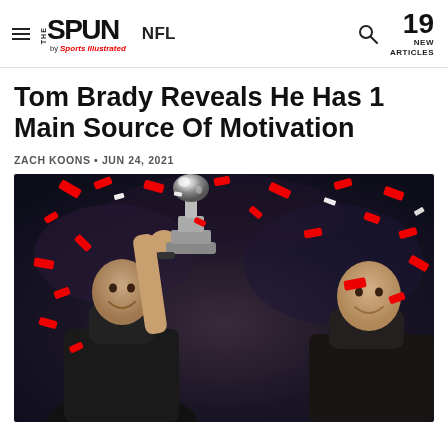THE SPUN by Sports Illustrated | NFL | 19 NEW ARTICLES
Tom Brady Reveals He Has 1 Main Source Of Motivation
ZACH KOONS • JUN 24, 2021
[Figure (photo): Tom Brady holding the Lombardi Trophy aloft with red and white confetti falling around him and teammates celebrating nearby]